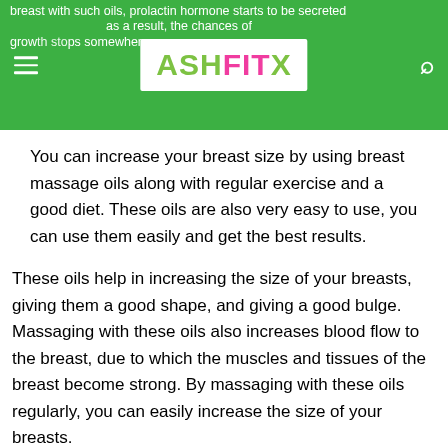ASHFITX
You can increase your breast size by using breast massage oils along with regular exercise and a good diet. These oils are also very easy to use, you can use them easily and get the best results.
These oils help in increasing the size of your breasts, giving them a good shape, and giving a good bulge. Massaging with these oils also increases blood flow to the breast, due to which the muscles and tissues of the breast become strong. By massaging with these oils regularly, you can easily increase the size of your breasts.
Talking about women or girls, according to research and studies, women who have small breast sizes, feel